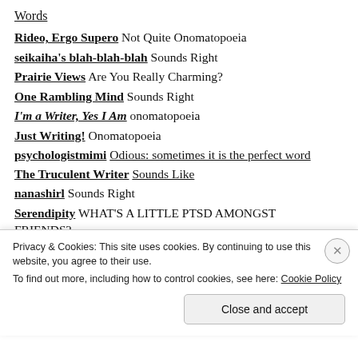Words
Rideo, Ergo Supero Not Quite Onomatopoeia
seikaiha's blah-blah-blah Sounds Right
Prairie Views Are You Really Charming?
One Rambling Mind Sounds Right
I'm a Writer, Yes I Am onomatopoeia
Just Writing! Onomatopoeia
psychologistmimi Odious: sometimes it is the perfect word
The Truculent Writer Sounds Like
nanashirl Sounds Right
Serendipity WHAT'S A LITTLE PTSD AMONGST FRIENDS?
Privacy & Cookies: This site uses cookies. By continuing to use this website, you agree to their use. To find out more, including how to control cookies, see here: Cookie Policy
Close and accept